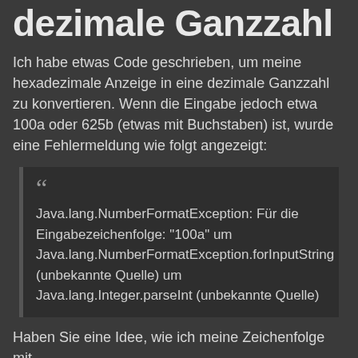dezimale Ganzzahl
Ich habe etwas Code geschrieben, um meine hexadezimale Anzeige in eine dezimale Ganzzahl zu konvertieren. Wenn die Eingabe jedoch etwa 100a oder 625b (etwas mit Buchstaben) ist, wurde eine Fehlermeldung wie folgt angezeigt:
Java.lang.NumberFormatException: Für die Eingabezeichenfolge: "100a" um Java.lang.NumberFormatException.forInputString (unbekannte Quelle) um Java.lang.Integer.parseInt (unbekannte Quelle)
Haben Sie eine Idee, wie ich meine Zeichenfolge mit